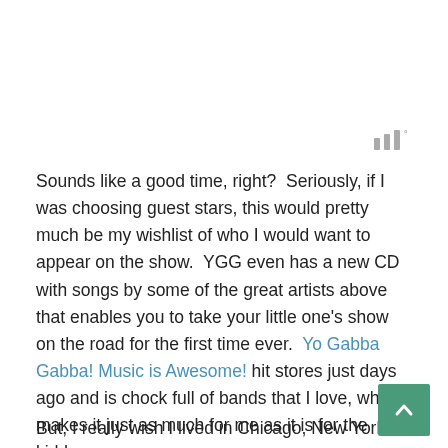[Figure (other): Small grey icon resembling signal bars or musical notes with a degree symbol, positioned top right]
Sounds like a good time, right?  Seriously, if I was choosing guest stars, this would pretty much be my wishlist of who I would want to appear on the show.  YGG even has a new CD with songs by some of the great artists above that enables you to take your little one's show on the road for the first time ever.  Yo Gabba Gabba! Music is Awesome! hit stores just days ago and is chock full of bands that I love, which makes it just as much for me as it is for the kiddos.
But, I really wish I lived in Chicago, New York or Los
[Figure (other): Green scroll-to-top button with an upward-pointing chevron/arrow]